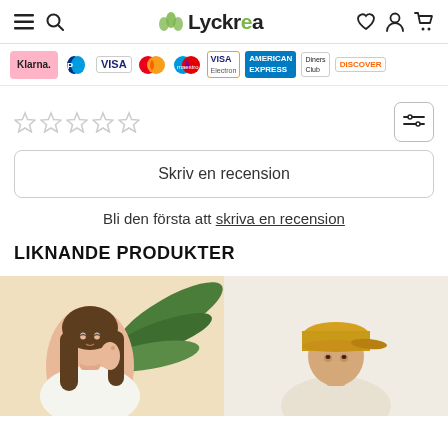Lyckrea - navigation header with menu, search, wishlist, account, cart icons
[Figure (infographic): Payment method logos: Klarna, PayPal, Visa, Mastercard, Maestro, Visa Electron, American Express, Diners Club, Discover]
[Figure (other): Five empty star rating icons]
Skriv en recension
Bli den första att skriva en recension
LIKNANDE PRODUKTER
[Figure (photo): Woman with long brown hair touching her ear, wearing white, with green palm leaf in background]
[Figure (photo): Person wearing yellow/mustard cap, light background]